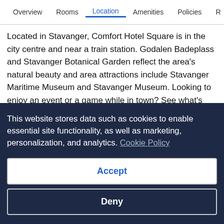Overview  Rooms  Location  Amenities  Policies  R
Located in Stavanger, Comfort Hotel Square is in the city centre and near a train station. Godalen Badeplass and Stavanger Botanical Garden reflect the area's natural beauty and area attractions include Stavanger Maritime Museum and Stavanger Museum. Looking to enjoy an event or a game while in town? See what's happening at Stavanger Idrettshall or DNB Arena. Boat tours offers a great chance to get out on the surrounding water, or you can seek out an adventure with hiking/biking trails nearby. Guests love the hotel's central location.
Visit our Stavanger travel guide
This website stores data such as cookies to enable essential site functionality, as well as marketing, personalization, and analytics. Cookie Policy
Accept
Deny